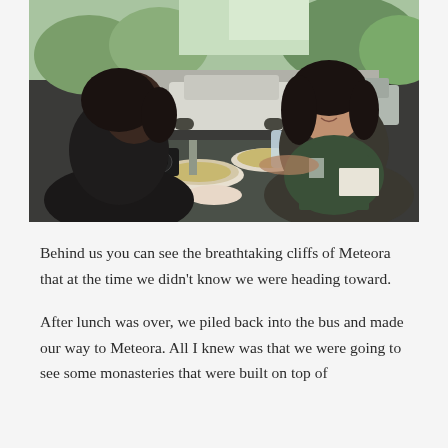[Figure (photo): Two women eating lunch outdoors at a table with plates of food, a water bottle, and a camera. Cars are parked in the background and cliffs/hills are visible in the distance. Natural daylight setting.]
Behind us you can see the breathtaking cliffs of Meteora that at the time we didn't know we were heading toward.
After lunch was over, we piled back into the bus and made our way to Meteora. All I knew was that we were going to see some monasteries that were built on top of